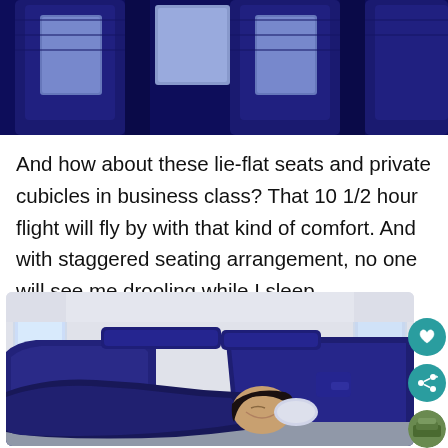[Figure (photo): Airplane business class seats viewed from above showing blue seat backs with integrated screens, dark navy color scheme]
And how about these lie-flat seats and private cubicles in business class? That 10 1/2 hour flight will fly by with that kind of comfort. And with staggered seating arrangement, no one will see me drooling while I sleep.
[Figure (photo): A person sleeping in a lie-flat business class seat on an airplane, wrapped in a dark navy blanket, inside a private pod cubicle with white walls and blue seat structure]